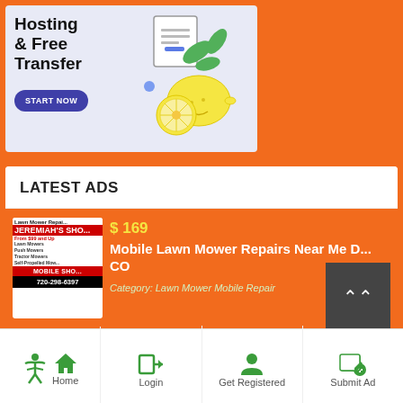[Figure (illustration): Advertisement banner with light purple background showing 'Hosting & Free Transfer' text, a START NOW button, and a decorative lemon/fruit illustration with document icon]
LATEST ADS
[Figure (photo): Thumbnail image of Jeremiah's Shop lawn mower repair mobile service ad with red and white design, showing phone number 720-298-6397]
$ 169
Mobile Lawn Mower Repairs Near Me D... CO
Category: Lawn Mower Mobile Repair
Home | Login | Get Registered | Submit Ad